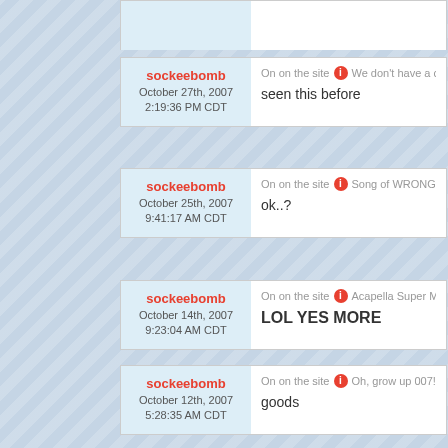sockeebomb October 27th, 2007 2:19:36 PM CDT | On on the site [i] We don't have a cow
seen this before
sockeebomb October 25th, 2007 9:41:17 AM CDT | On on the site [i] Song of WRONGs
ok..?
sockeebomb October 14th, 2007 9:23:04 AM CDT | On on the site [i] Acapella Super Mario (fun times
LOL YES MORE
sockeebomb October 12th, 2007 5:28:35 AM CDT | On on the site [i] Oh, grow up 007!
goods